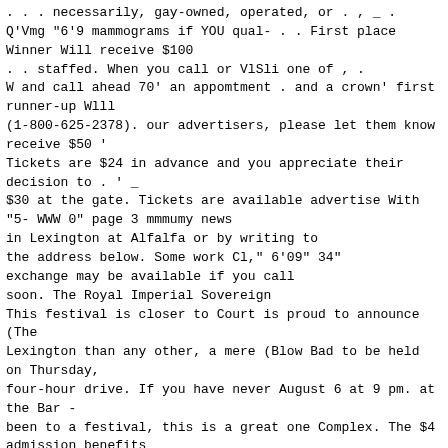. . . necessarily, gay-owned, operated, or . , _ .
Q'Vmg "6'9 mammograms if YOU qual- . . First place
Winner Will receive $100
. . staffed. When you call or VlSli one of , .
W and call ahead 70' an appomtment . and a crown' first
runner-up Wlll
(1-800-625-2378). our advertisers, please let them know
receive $50 '
Tickets are $24 in advance and you appreciate their
decision to . ' _
$30 at the gate. Tickets are available advertise With
"5- WWW 0" page 3 mmmumy news
in Lexington at Alfalfa or by writing to
the address below. Some work Cl," 6'09" 34"
exchange may be available if you call
soon. The Royal Imperial Sovereign
This festival is closer to Court is proud to announce
(The
Lexington than any other, a mere (Blow Bad to be held
on Thursday,
four-hour drive. If you have never August 6 at 9 pm. at
the Bar -
been to a festival, this is a great one Complex. The $4
admission benefits
for "festi-virgins." Moveable Feast.(See related
article
For more information contact on page 5)_
U35 at PO BOX 82085; Columbus, This special event is
open to
Ohio, 43203 Phone (614) 26743953 individuals of any